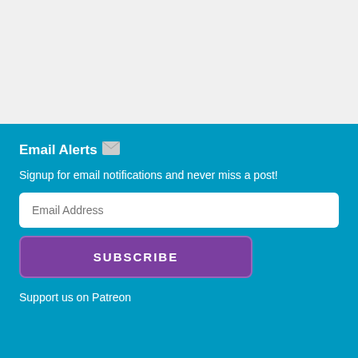Email Alerts ✉
Signup for email notifications and never miss a post!
Email Address
SUBSCRIBE
Support us on Patreon